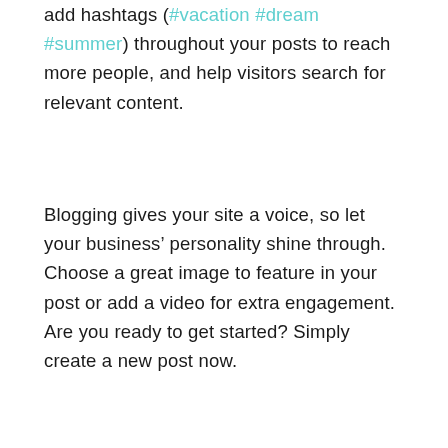add hashtags (#vacation #dream #summer) throughout your posts to reach more people, and help visitors search for relevant content.
Blogging gives your site a voice, so let your business’ personality shine through. Choose a great image to feature in your post or add a video for extra engagement. Are you ready to get started? Simply create a new post now.
[Figure (infographic): Social share icons: Facebook, Twitter, LinkedIn, and a link/chain icon]
[Figure (infographic): View count (eye icon) showing 2 views, and a comment bubble icon. Back-to-top circular button on the right.]
Recent Posts
See All
[Figure (infographic): Pagination dots: one active (dark) and one inactive (light)]
[Figure (infographic): Bottom strip with partial thumbnail images]